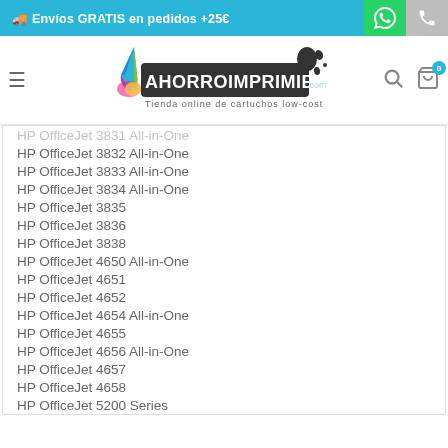🚚 Envíos GRATIS en pedidos +25€
[Figure (logo): AhorroImprimiendo.com logo — colorful ink drop with text, Tienda online de cartuchos low-cost]
HP OfficeJet 3832 All-in-One
HP OfficeJet 3833 All-in-One
HP OfficeJet 3834 All-in-One
HP OfficeJet 3835
HP OfficeJet 3836
HP OfficeJet 3838
HP OfficeJet 4650 All-in-One
HP OfficeJet 4651
HP OfficeJet 4652
HP OfficeJet 4654 All-in-One
HP OfficeJet 4655
HP OfficeJet 4656 All-in-One
HP OfficeJet 4657
HP OfficeJet 4658
HP OfficeJet 5200 Series